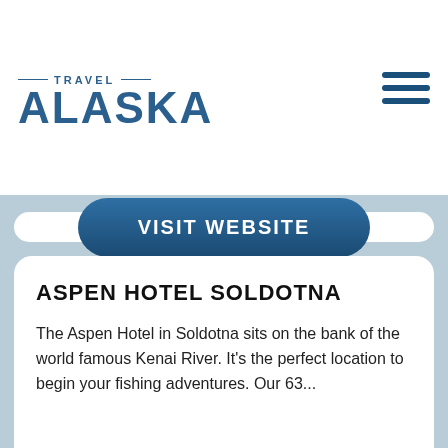[Figure (logo): Travel Alaska logo with mountain icon, horizontal lines, and large ALASKA text in dark blue]
[Figure (illustration): Hamburger menu icon with three dark blue horizontal bars]
VISIT WEBSITE
ASPEN HOTEL SOLDOTNA
The Aspen Hotel in Soldotna sits on the bank of the world famous Kenai River. It's the perfect location to begin your fishing adventures. Our 63...